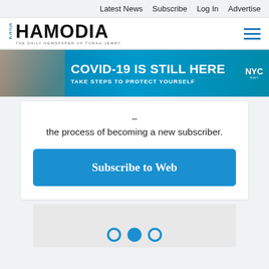Latest News  Subscribe  Log In  Advertise
[Figure (logo): Hamodia newspaper logo — 'THE DAILY NEWSPAPER OF TORAH JEWRY' — with blue Hebrew text and hamburger menu icon]
[Figure (infographic): NYC COVID-19 public health banner ad: 'COVID-19 IS STILL HERE — TAKE STEPS TO PROTECT YOURSELF' with NYC government logo and photo of masked person on phone]
– the process of becoming a new subscriber.
Subscribe to Web
[Figure (infographic): Loading indicator with three circles in blue (outline, filled, outline)]